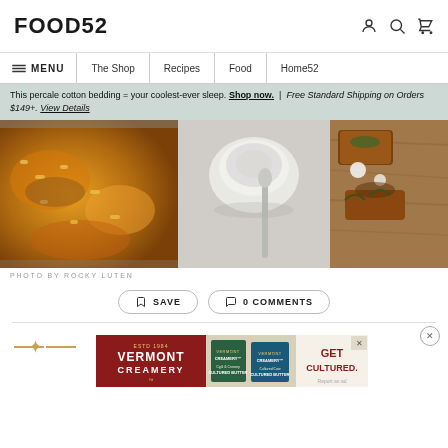FOOD52
≡ MENU | The Shop | Recipes | Food | Home52
This percale cotton bedding = your coolest-ever sleep. Shop now. | Free Standard Shipping on Orders $149+. View Details
[Figure (photo): Three food photographs side by side: mac and cheese bake, a bowl with a spoon, and breaded food with cream sauce on a cutting board]
PHOTO BY ROCKY LUTEN
SAVE
0 COMMENTS
[Figure (other): Vermont Creamery advertisement banner with red and green packaging and GET CULTURED text]